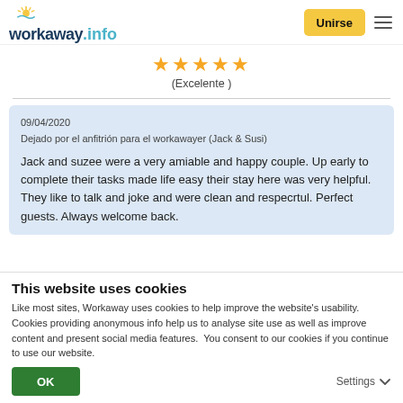workaway.info — Unirse
★★★★★
(Excelente )
09/04/2020
Dejado por el anfitrión para el workawayer (Jack & Susi)

Jack and suzee were a very amiable and happy couple. Up early to complete their tasks made life easy their stay here was very helpful. They like to talk and joke and were clean and respecrtul. Perfect guests. Always welcome back.
This website uses cookies
Like most sites, Workaway uses cookies to help improve the website's usability. Cookies providing anonymous info help us to analyse site use as well as improve content and present social media features.  You consent to our cookies if you continue to use our website.
OK   Settings ▾